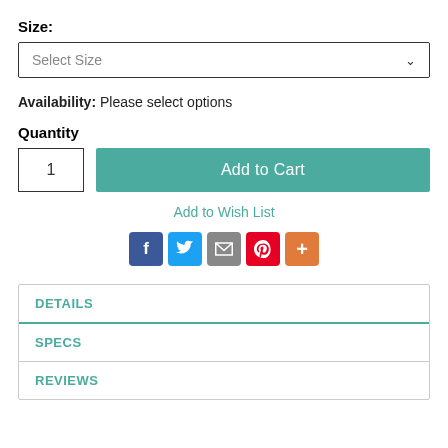Size:
[Figure (screenshot): Select Size dropdown box with chevron]
Availability: Please select options
Quantity
[Figure (screenshot): Quantity input field showing 1 and Add to Cart teal button]
Add to Wish List
[Figure (infographic): Social share icons: Facebook, Twitter, Email, Pinterest, Plus]
DETAILS
SPECS
REVIEWS